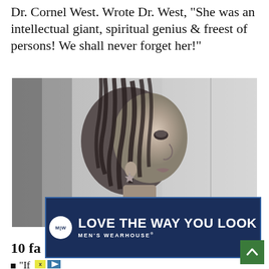Dr. Cornel West. Wrote Dr. West, "She was an intellectual giant, spiritual genius & freest of persons! We shall never forget her!"
[Figure (photo): Black and white portrait photograph of a woman with braided hair and a star-of-David earring, looking to the right in profile.]
Associated Press
[Figure (other): Advertisement banner for Men's Wearhouse with the tagline 'LOVE THE WAY YOU LOOK' on a dark navy background with their circular logo.]
10 fa…
"If…